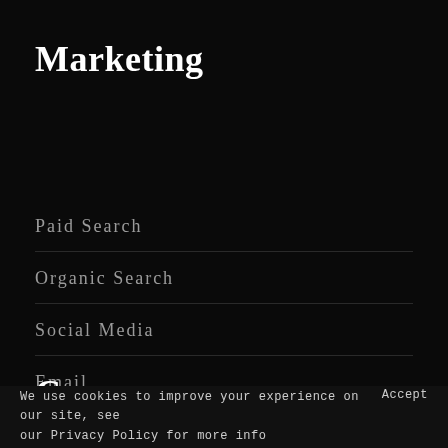Marketing
Paid Search
Organic Search
Social Media
Email
Content
Company
We use cookies to improve your experience on our site, see our Privacy Policy for more info   Accept